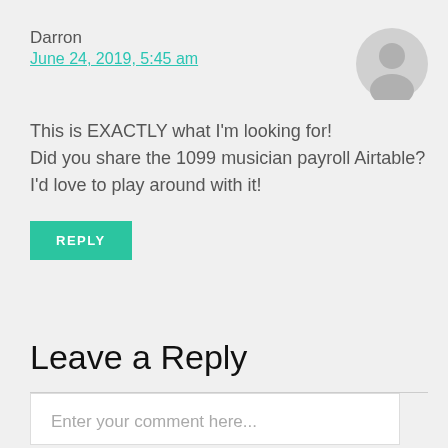Darron
June 24, 2019, 5:45 am
This is EXACTLY what I'm looking for!
Did you share the 1099 musician payroll Airtable?
I'd love to play around with it!
REPLY
Leave a Reply
Enter your comment here...